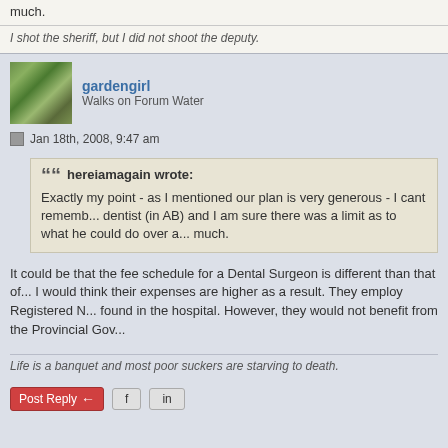much.
I shot the sheriff, but I did not shoot the deputy.
gardengirl
Walks on Forum Water
Jan 18th, 2008, 9:47 am
hereiamagain wrote: Exactly my point - as I mentioned our plan is very generous - I cant rememb... dentist (in AB) and I am sure there was a limit as to what he could do over a... much.
It could be that the fee schedule for a Dental Surgeon is different than that of... I would think their expenses are higher as a result. They employ Registered N... found in the hospital. However, they would not benefit from the Provincial Gov...
Life is a banquet and most poor suckers are starving to death.